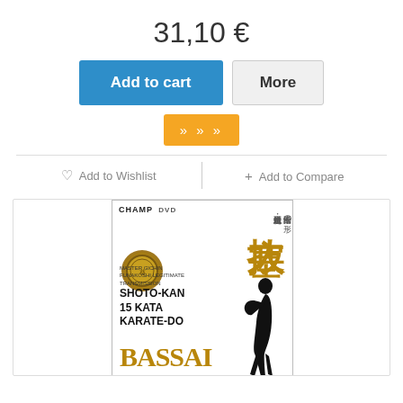31,10 €
Add to cart
More
» » »
♡ Add to Wishlist
+ Add to Compare
[Figure (photo): DVD cover for CHAMP DVD: Shoto-Kan 15 Kata Karate-Do Bassai, featuring Japanese kanji characters, a gold medal, and a silhouette of a karate practitioner]